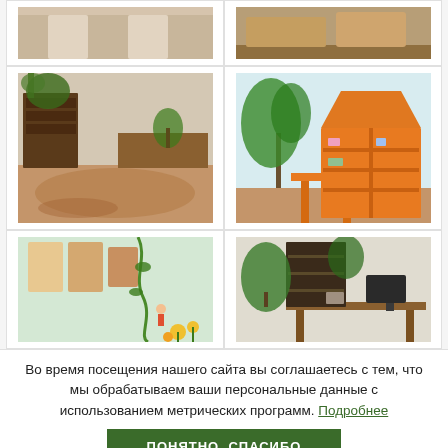[Figure (photo): Top-left partial photo: interior hallway with wooden doors]
[Figure (photo): Top-right partial photo: room interior with furniture and mat]
[Figure (photo): Middle-left photo: library/reading room with patterned carpet and plants]
[Figure (photo): Middle-right photo: house-shaped bookshelf and large plant]
[Figure (photo): Bottom-left partial photo: wall displays and plant decorations]
[Figure (photo): Bottom-right partial photo: room with plants and computer desk]
Во время посещения нашего сайта вы соглашаетесь с тем, что мы обрабатываем ваши персональные данные с использованием метрических программ. Подробнее
ПОНЯТНО, СПАСИБО